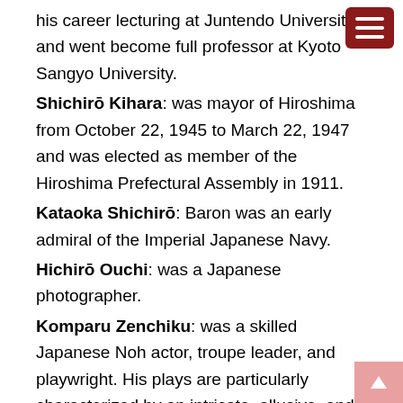his career lecturing at Juntendo University, and went become full professor at Kyoto Sangyo University.
Shichirō Kihara: was mayor of Hiroshima from October 22, 1945 to March 22, 1947 and was elected as member of the Hiroshima Prefectural Assembly in 1911.
Kataoka Shichirō: Baron was an early admiral of the Imperial Japanese Navy.
Hichirō Ouchi: was a Japanese photographer.
Komparu Zenchiku: was a skilled Japanese Noh actor, troupe leader, and playwright. His plays are particularly characterized by an intricate, allusive, and subtle style inherited from Zeami which convolved yūgen with influences from Zen Buddhism (his Zen master was Ikkyū) and Kegon.
Gulf of Patience: Gulf of Patience (, Zaliv Terpeniya)(, Taraika wan) is a large body of water off the southeastern coast of Sakhalin, Russia, between the main body of